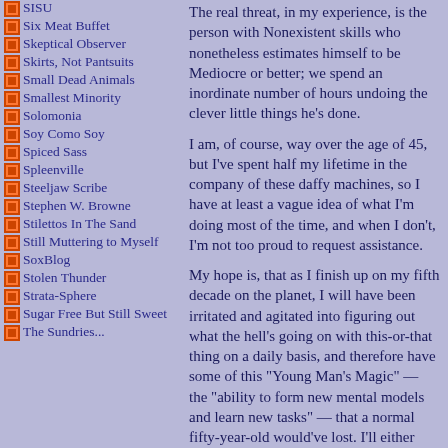SISU
Six Meat Buffet
Skeptical Observer
Skirts, Not Pantsuits
Small Dead Animals
Smallest Minority
Solomonia
Soy Como Soy
Spiced Sass
Spleenville
Steeljaw Scribe
Stephen W. Browne
Stilettos In The Sand
Still Muttering to Myself
SoxBlog
Stolen Thunder
Strata-Sphere
Sugar Free But Still Sweet
The Sundries...
The real threat, in my experience, is the person with Nonexistent skills who nonetheless estimates himself to be Mediocre or better; we spend an inordinate number of hours undoing the clever little things he’s done.
I am, of course, way over the age of 45, but I’ve spent half my lifetime in the company of these daffy machines, so I have at least a vague idea of what I’m doing most of the time, and when I don’t, I’m not too proud to request assistance.
My hope is, that as I finish up on my fifth decade on the planet, I will have been irritated and agitated into figuring out what the hell’s going on with this-or-that thing on a daily basis, and therefore have some of this “Young Man’s Magic” — the “ability to form new mental models and learn new tasks” — that a normal fifty-year-old would’ve lost. I’ll either have that germinating in my cranium, or a brain tumor, maybe.